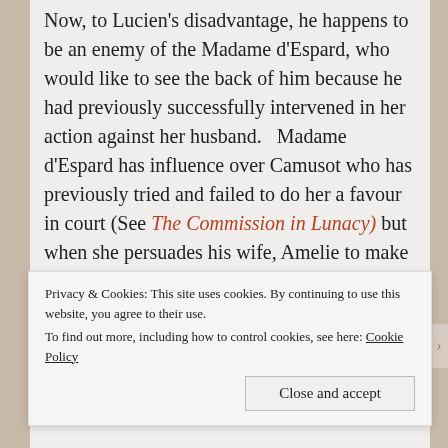Now, to Lucien's disadvantage, he happens to be an enemy of the Madame d'Espard, who would like to see the back of him because he had previously successfully intervened in her action against her husband.   Madame d'Espard has influence over Camusot who has previously tried and failed to do her a favour in court (See The Commission in Lunacy) but  when she persuades his wife, Amelie to make sure Lucien gets committed, Camusot tells Amelie to keep out of it.  And just as well, because the Duchesse de Maufrigneuse – whose influence led to Camusot's much-coveted appointment – sends for Amelie to
Privacy & Cookies: This site uses cookies. By continuing to use this website, you agree to their use.
To find out more, including how to control cookies, see here: Cookie Policy
Close and accept